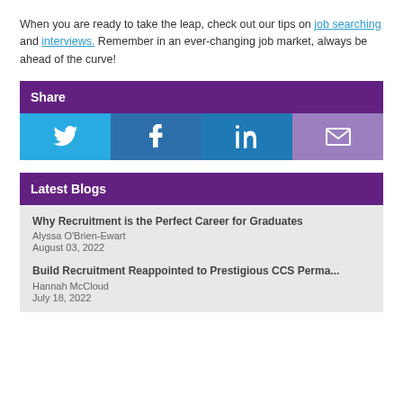When you are ready to take the leap, check out our tips on job searching and interviews. Remember in an ever-changing job market, always be ahead of the curve!
Share
[Figure (infographic): Social share buttons: Twitter (light blue), Facebook (dark blue), LinkedIn (dark blue), Email (light purple)]
Latest Blogs
Why Recruitment is the Perfect Career for Graduates
Alyssa O'Brien-Ewart
August 03, 2022
Build Recruitment Reappointed to Prestigious CCS Perma...
Hannah McCloud
July 18, 2022